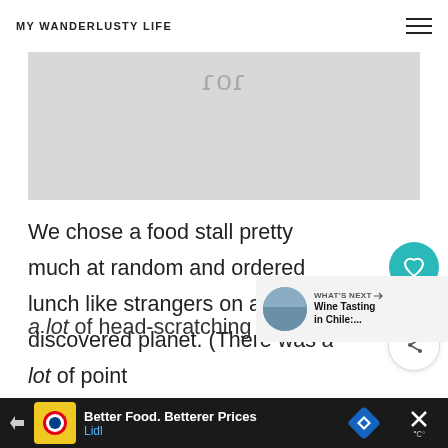MY WANDERLUSTY LIFE
[Figure (photo): Partial image visible at top of content area, showing a cropped portion of a photo]
We chose a food stall pretty much at random and ordered lunch like strangers on a newly discovered planet. (There was a lot of point
a lot of head-scratching.)
[Figure (other): What's Next widget - Wine Tasting in Chile:...]
[Figure (other): Advertisement: Better Food. Betterer Prices - Lidl]